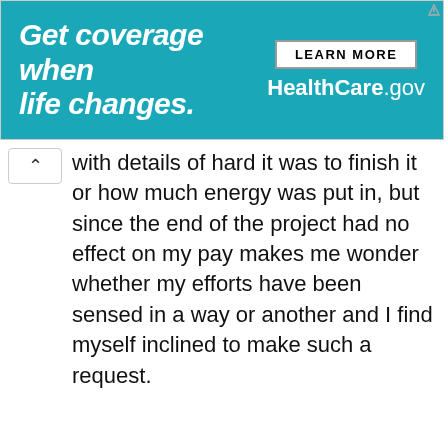[Figure (infographic): HealthCare.gov advertisement banner with teal background. Left side: bold italic white text 'Get coverage when life changes.' Right side: white 'LEARN MORE' button and 'HealthCare.gov' text in white.]
with details of hard it was to finish it or how much energy was put in, but since the end of the project had no effect on my pay makes me wonder whether my efforts have been sensed in a way or another and I find myself inclined to make such a request.